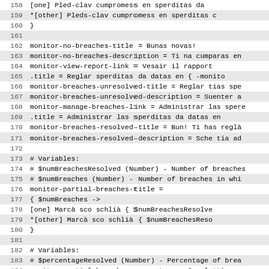Code listing lines 158-189 showing localization key-value pairs and comments in a configuration/properties file format.